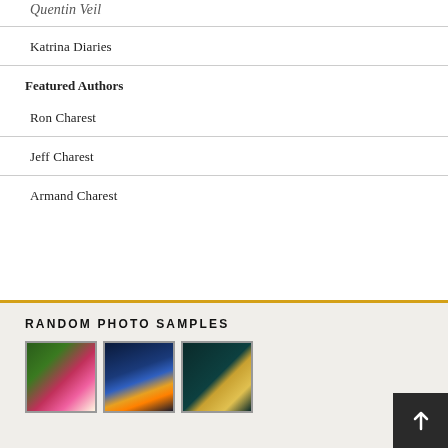Quentin Veil
Katrina Diaries
Featured Authors
Ron Charest
Jeff Charest
Armand Charest
RANDOM PHOTO SAMPLES
[Figure (photo): Pink rose flower with green leaves background]
[Figure (photo): Illuminated building at night reflected in water]
[Figure (photo): Dark teal background with golden lights/lanterns on branches]